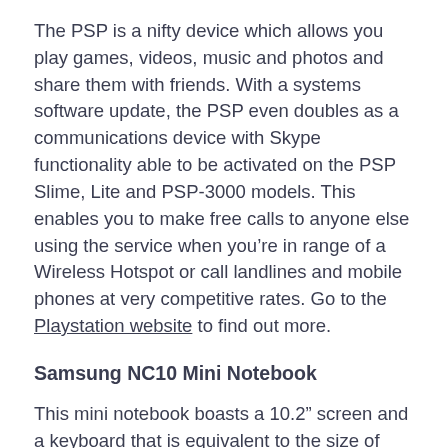The PSP is a nifty device which allows you play games, videos, music and photos and share them with friends. With a systems software update, the PSP even doubles as a communications device with Skype functionality able to be activated on the PSP Slime, Lite and PSP-3000 models. This enables you to make free calls to anyone else using the service when you're in range of a Wireless Hotspot or call landlines and mobile phones at very competitive rates. Go to the Playstation website to find out more.
Samsung NC10 Mini Notebook
This mini notebook boasts a 10.2″ screen and a keyboard that is equivalent to the size of 93% of a full QWERTY keyboard but only weighs 1.3kg with a